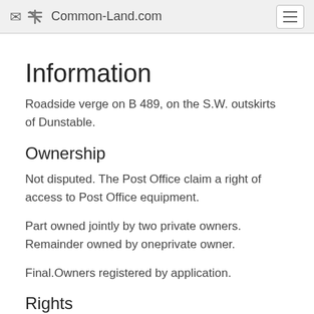✈ Common-Land.com
Information
Roadside verge on B 489, on the S.W. outskirts of Dunstable.
Ownership
Not disputed. The Post Office claim a right of access to Post Office equipment.
Part owned jointly by two private owners. Remainder owned by oneprivate owner.
Final.Owners registered by application.
Rights